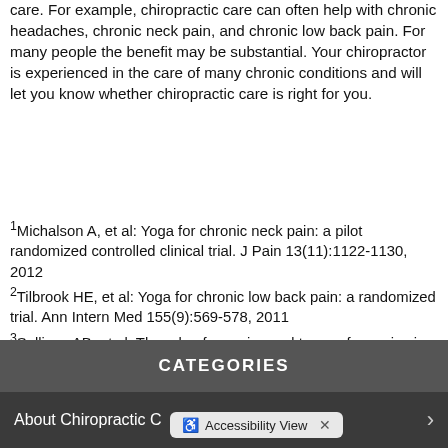care. For example, chiropractic care can often help with chronic headaches, chronic neck pain, and chronic low back pain. For many people the benefit may be substantial. Your chiropractor is experienced in the care of many chronic conditions and will let you know whether chiropractic care is right for you.
1Michalson A, et al: Yoga for chronic neck pain: a pilot randomized controlled clinical trial. J Pain 13(11):1122-1130, 2012
2Tilbrook HE, et al: Yoga for chronic low back pain: a randomized trial. Ann Intern Med 155(9):569-578, 2011
3Sullivan AB, et al: The role of exercise and types of exercise in the rehabilitation of chronic pain: specific or nonspecific benefits. Curr Pain Headache Rep 16(2):153-161, 2012
CATEGORIES
About Chiropractic C